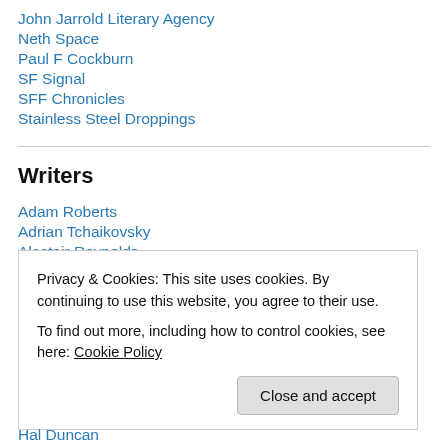John Jarrold Literary Agency
Neth Space
Paul F Cockburn
SF Signal
SFF Chronicles
Stainless Steel Droppings
Writers
Adam Roberts
Adrian Tchaikovsky
Alastair Reynolds
Privacy & Cookies: This site uses cookies. By continuing to use this website, you agree to their use.
To find out more, including how to control cookies, see here: Cookie Policy
Hal Duncan